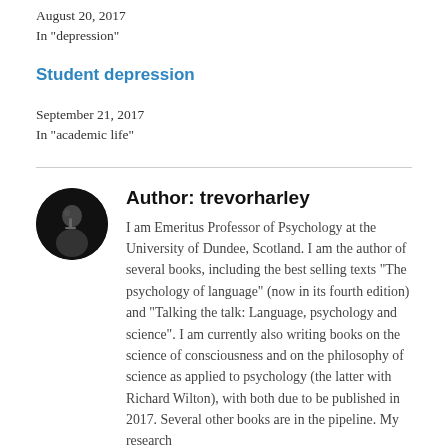August 20, 2017
In "depression"
Student depression
September 21, 2017
In "academic life"
Author: trevorharley
I am Emeritus Professor of Psychology at the University of Dundee, Scotland. I am the author of several books, including the best selling texts "The psychology of language" (now in its fourth edition) and "Talking the talk: Language, psychology and science". I am currently also writing books on the science of consciousness and on the philosophy of science as applied to psychology (the latter with Richard Wilton), with both due to be published in 2017. Several other books are in the pipeline. My research